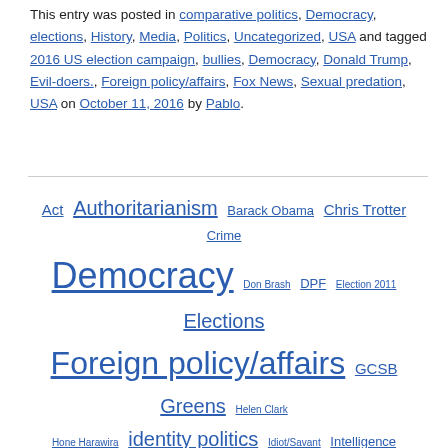This entry was posted in comparative politics, Democracy, elections, History, Media, Politics, Uncategorized, USA and tagged 2016 US election campaign, bullies, Democracy, Donald Trump, Evil-doers., Foreign policy/affairs, Fox News, Sexual predation, USA on October 11, 2016 by Pablo.
Tag cloud: Act, Authoritarianism, Barack Obama, Chris Trotter, Crime, Democracy, Don Brash, DPF, Election 2011, Elections, Foreign policy/affairs, GCSB, Greens, Helen Clark, Hone Harawira, identity politics, Idiot/Savant, Intelligence, International relations, John Key, Kiwiblog, Labour, Maori Party, Media, media theory, National, NZDF, NZ Herald, open government, Participation, Phil Goff, photography, Police